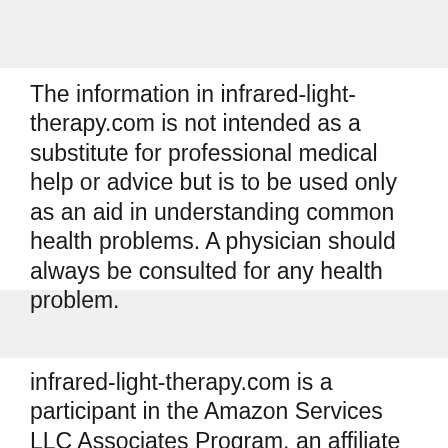The information in infrared-light-therapy.com is not intended as a substitute for professional medical help or advice but is to be used only as an aid in understanding common health problems. A physician should always be consulted for any health problem.
infrared-light-therapy.com is a participant in the Amazon Services LLC Associates Program, an affiliate advertising program designed to provide a means for website owners to earn advertising fees by